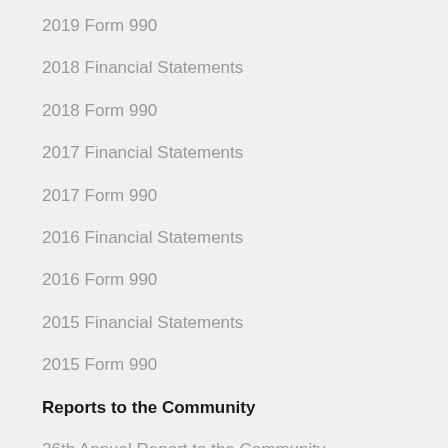2019 Form 990
2018 Financial Statements
2018 Form 990
2017 Financial Statements
2017 Form 990
2016 Financial Statements
2016 Form 990
2015 Financial Statements
2015 Form 990
Reports to the Community
26th Annual Report to the Community
25th Annual Report to the Community